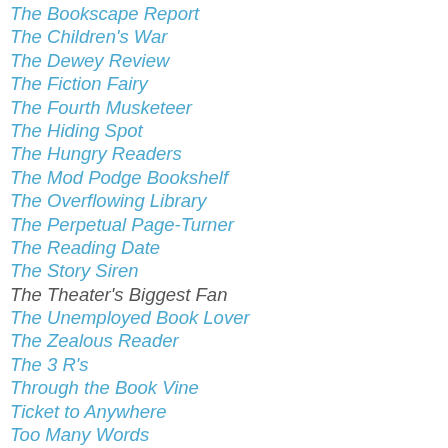The Bookscape Report
The Children's War
The Dewey Review
The Fiction Fairy
The Fourth Musketeer
The Hiding Spot
The Hungry Readers
The Mod Podge Bookshelf
The Overflowing Library
The Perpetual Page-Turner
The Reading Date
The Story Siren
The Theater's Biggest Fan
The Unemployed Book Lover
The Zealous Reader
The 3 R's
Through the Book Vine
Ticket to Anywhere
Too Many Words
Turn the Page
Visible Spectrum